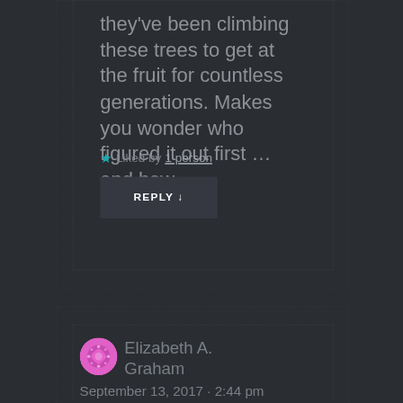they've been climbing these trees to get at the fruit for countless generations. Makes you wonder who figured it out first … and how.
★ Liked by 1 person
REPLY ↓
Elizabeth A. Graham
September 13, 2017 · 2:44 pm